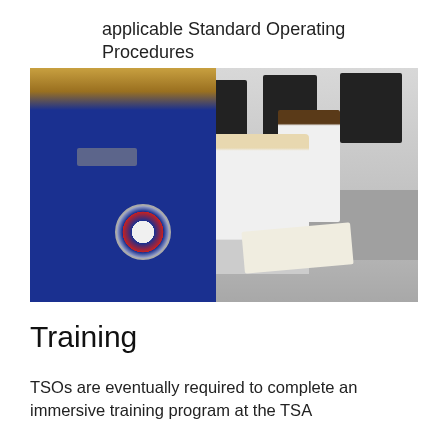Retaining and implementing knowledge of all applicable Standard Operating Procedures
[Figure (photo): TSA officer in blue uniform with TSA badge patch on arm, standing in front of a training room where people in white shirts are seated at computer desks]
Training
TSOs are eventually required to complete an immersive training program at the TSA